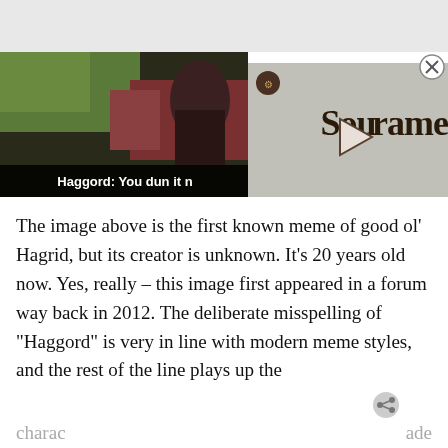[Figure (screenshot): A composite screenshot showing a video game scene on the left with subtitle 'Haggord: You dun it n...' and a SoulFrame game logo overlay on the right with a play button. A close (X) button is at the top right.]
The image above is the first known meme of good ol' Hagrid, but its creator is unknown. It's 20 years old now. Yes, really – this image first appeared in a forum way back in 2012. The deliberate misspelling of "Haggord" is very in line with modern meme styles, and the rest of the line plays up the
charac ... ade